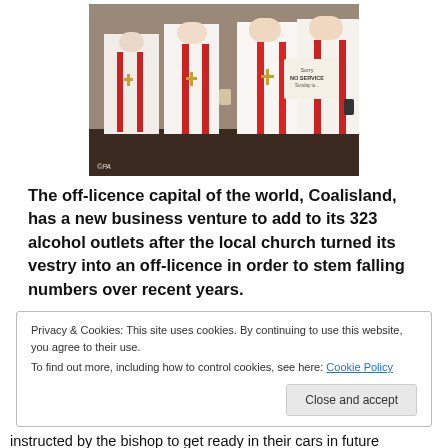[Figure (photo): Group of clergy wearing white robes with red stoles standing at what appears to be a bar or counter. A sign reading 'Sorry NO SERVICE' is visible in the background. Watermark '©PA' in bottom left.]
The off-licence capital of the world, Coalisland, has a new business venture to add to its 323 alcohol outlets after the local church turned its vestry into an off-licence in order to stem falling numbers over recent years.
Privacy & Cookies: This site uses cookies. By continuing to use this website, you agree to their use.
To find out more, including how to control cookies, see here: Cookie Policy
[Close and accept]
instructed by the bishop to get ready in their cars in future